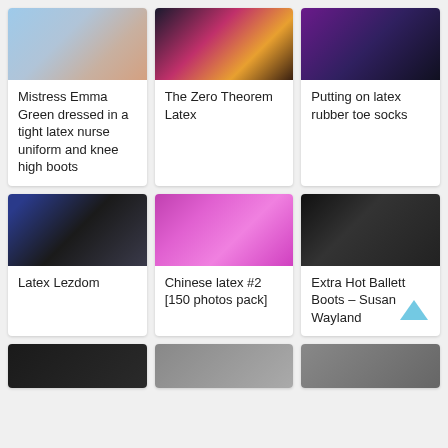[Figure (photo): Photo of person in blue latex nurse uniform]
Mistress Emma Green dressed in a tight latex nurse uniform and knee high boots
[Figure (photo): Photo from Zero Theorem film with latex costume]
The Zero Theorem Latex
[Figure (photo): Photo of latex rubber toe socks on feet]
Putting on latex rubber toe socks
[Figure (photo): Photo of latex lezdom scene]
Latex Lezdom
[Figure (photo): Photo of woman in pink latex with ballet boots on pink background]
Chinese latex #2 [150 photos pack]
[Figure (photo): Photo of person in black latex ballet boots]
Extra Hot Ballett Boots – Susan Wayland
[Figure (photo): Partial photo row 3 left]
[Figure (photo): Partial photo row 3 center]
[Figure (photo): Partial photo row 3 right]